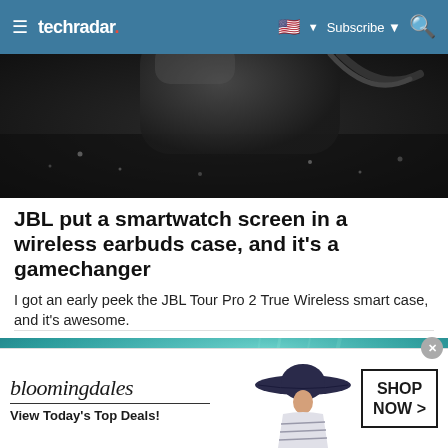techradar | Subscribe | Search
[Figure (photo): Close-up photo of a dark wireless earbuds charging case on a dark surface with water droplets]
JBL put a smartwatch screen in a wireless earbuds case, and it's a gamechanger
I got an early peek the JBL Tour Pro 2 True Wireless smart case, and it's awesome.
TechRadar
[Figure (photo): Underwater photo of a sea turtle swimming in teal/blue water]
[Figure (photo): Bloomingdales advertisement banner showing a woman wearing a large sun hat. Text: bloomingdales, View Today's Top Deals!, SHOP NOW >]